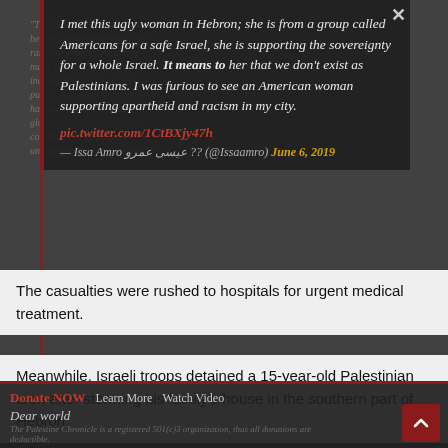I met this ugly woman in Hebron; she is from a group called Americans for a safe Israel, she is supporting the sovereignty for a whole Israel. It means to her that we don't exist as Palestinians. I was furious to see an American woman supporting apartheid and racism in my city. pic.twitter.com/1CtBXjy47h
— Issa Amro عيسى عمرو?? (@Issaamro) June 6, 2019
The casualties were rushed to hospitals for urgent medical treatment.
Meanwhile, Israeli troops detained a 15-year-old Palestinian teen after storming his family's house in the southern part of Hebron.
Donate NOW   Learn More   Watch Video
Dear world